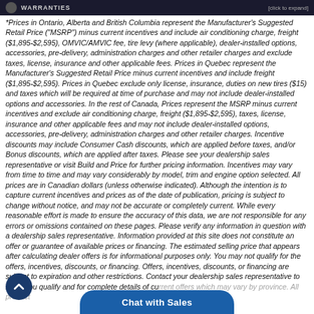WARRANTIES [click to expand]
*Prices in Ontario, Alberta and British Columbia represent the Manufacturer's Suggested Retail Price ("MSRP") minus current incentives and include air conditioning charge, freight ($1,895-$2,595), OMVIC/AMVIC fee, tire levy (where applicable), dealer-installed options, accessories, pre-delivery, administration charges and other retailer charges and exclude taxes, license, insurance and other applicable fees. Prices in Quebec represent the Manufacturer's Suggested Retail Price minus current incentives and include freight ($1,895-$2,595). Prices in Quebec exclude only license, insurance, duties on new tires ($15) and taxes which will be required at time of purchase and may not include dealer-installed options and accessories. In the rest of Canada, Prices represent the MSRP minus current incentives and exclude air conditioning charge, freight ($1,895-$2,595), taxes, license, insurance and other applicable fees and may not include dealer-installed options, accessories, pre-delivery, administration charges and other retailer charges. Incentive discounts may include Consumer Cash discounts, which are applied before taxes, and/or Bonus discounts, which are applied after taxes. Please see your dealership sales representative or visit Build and Price for further pricing information. Incentives may vary from time to time and may vary considerably by model, trim and engine option selected. All prices are in Canadian dollars (unless otherwise indicated). Although the intention is to capture current incentives and prices as of the date of publication, pricing is subject to change without notice, and may not be accurate or completely current. While every reasonable effort is made to ensure the accuracy of this data, we are not responsible for any errors or omissions contained on these pages. Please verify any information in question with a dealership sales representative. Information provided at this site does not constitute an offer or guarantee of available prices or financing. The estimated selling price that appears after calculating dealer offers is for informational purposes only. You may not qualify for the offers, incentives, discounts, or financing. Offers, incentives, discounts, or financing are subject to expiration and other restrictions. Contact your dealership sales representative to see if you qualify and for complete details of current offers which may vary by province. All product